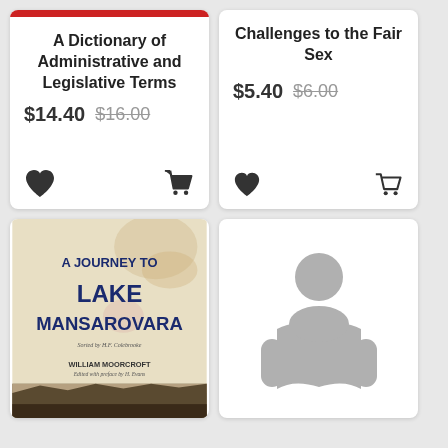[Figure (screenshot): Book listing card: A Dictionary of Administrative and Legislative Terms, sale price $14.40, original price $16.00, with heart and cart icons]
[Figure (screenshot): Book listing card: Challenges to the Fair Sex, sale price $5.40, original price $6.00, with heart and cart icons]
[Figure (illustration): Book cover: A Journey to Lake Mansarovara by William Moorcroft, vintage cover with landscape photograph]
[Figure (illustration): Placeholder reader icon: gray silhouette of person reading a book]